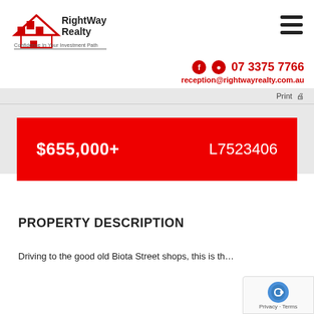[Figure (logo): RightWay Realty logo with house icon and tagline 'Confidence In Your Investment Path']
07 3375 7766
reception@rightwayrealty.com.au
Print
$655,000+    L7523406
PROPERTY DESCRIPTION
Driving to the good old Biota Street shops, this is th...